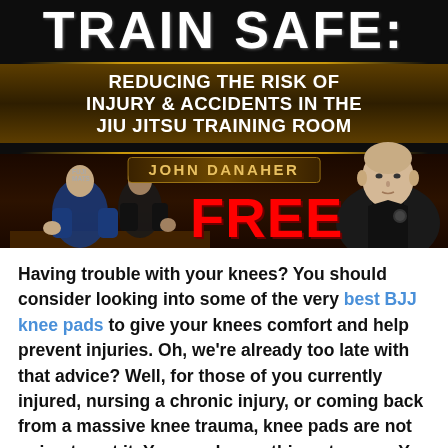[Figure (infographic): Promotional banner for 'Train Safe: Reducing the Risk of Injury & Accidents in the Jiu Jitsu Training Room' by John Danaher, marked FREE, with dark background showing BJJ practitioners and John Danaher photo.]
Having trouble with your knees? You should consider looking into some of the very best BJJ knee pads to give your knees comfort and help prevent injuries. Oh, we're already too late with that advice? Well, for those of you currently injured, nursing a chronic injury, or coming back from a massive knee trauma, knee pads are not going to cut it. You need something stronger. You need the good stuff. And the good